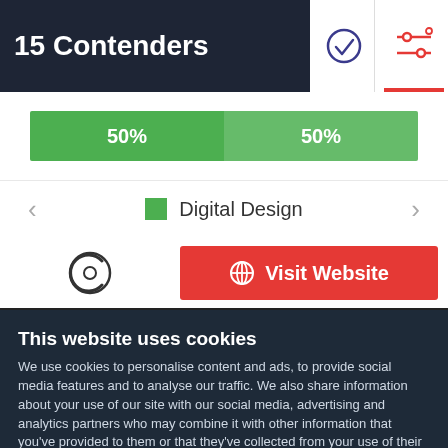15 Contenders
[Figure (bar-chart): Digital Design]
Digital Design
Visit Website
This website uses cookies
We use cookies to personalise content and ads, to provide social media features and to analyse our traffic. We also share information about your use of our site with our social media, advertising and analytics partners who may combine it with other information that you've provided to them or that they've collected from your use of their services. You agree to our cookies if you continue to use our website.
Close
Show details